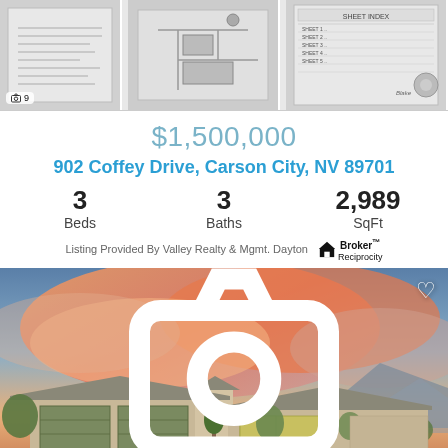[Figure (photo): Strip of three thumbnail images of property documents/floor plans at top of page]
$1,500,000
902 Coffey Drive, Carson City, NV 89701
3 Beds   3 Baths   2,989 SqFt
Listing Provided By Valley Realty & Mgmt. Dayton  Broker Reciprocity
[Figure (photo): Exterior photo of single-story stucco home with dramatic orange sunset clouds in background, desert landscaping, three-car garage. Shows '40' photo count badge and heart/favorite icon.]